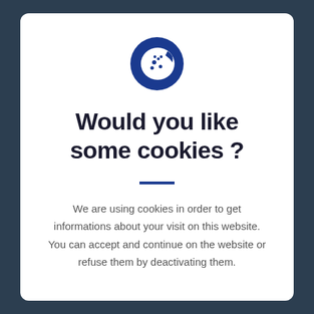[Figure (illustration): Cookie consent icon: a dark blue circle containing a white cookie/biscuit shape with dots representing chocolate chips]
Would you like some cookies ?
We are using cookies in order to get informations about your visit on this website. You can accept and continue on the website or refuse them by deactivating them.